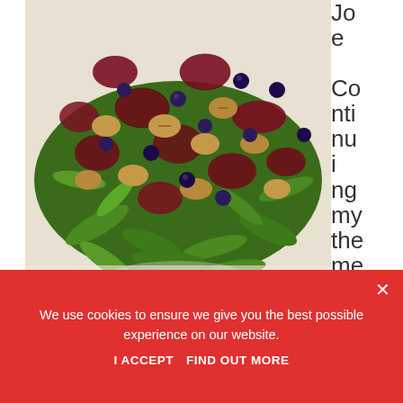[Figure (photo): A salad on a white plate featuring dark red/purple beet slices, walnuts, blueberries, and fresh rocket/arugula leaves.]
Joe Continuing my theme of loving
the rocket (arugula) vegetable, I thought I come up with a recipe... health benefits for your bowel...
We use cookies to ensure we give you the best possible experience on our website.
I ACCEPT   FIND OUT MORE